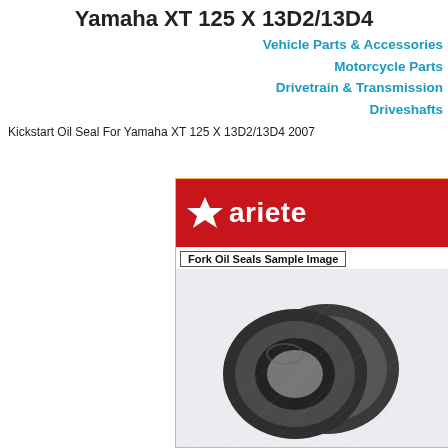Yamaha XT 125 X 13D2/13D4
Vehicle Parts & Accessories
Motorcycle Parts
Drivetrain & Transmission
Driveshafts
Kickstart Oil Seal For Yamaha XT 125 X 13D2/13D4 2007
[Figure (photo): Ariete branded fork oil seals product image showing two black rubber oil seals with the Ariete logo banner at the top and 'Fork Oil Seals Sample Image' label]